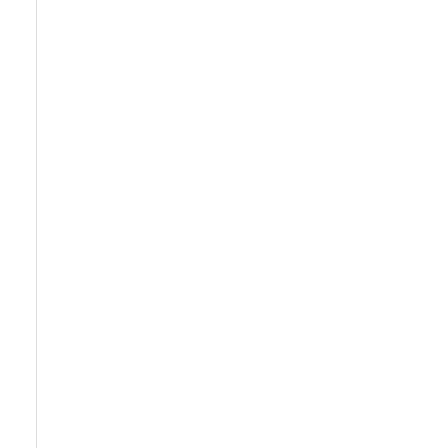Annual Subscription
$299.99 /YR
Instant access to every video on the site
Get 12 months for the price of 10!
Payment auto renews each year. Cancel anytime!
Priority access to "Ask The Experts"
Add to Cart
Monthly S[ubscription]
$29[.99 /MO]
Instant a[ccess to every] video on [the site]
Easy mo[nthly] auto rene[ws]
Cancel an[ytime!]
Get insta[nt access to] "Ask the [Experts"
Add t[o Cart]
EDU Discounts
USHJA CERTIFIED TRAINERS, COLLEGES, IHSA, IEA...